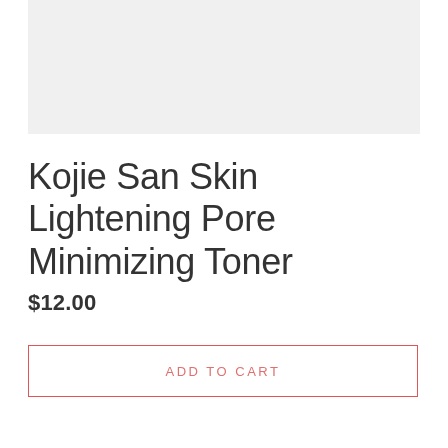[Figure (photo): Product image placeholder area with light gray background]
Kojie San Skin Lightening Pore Minimizing Toner
$12.00
ADD TO CART